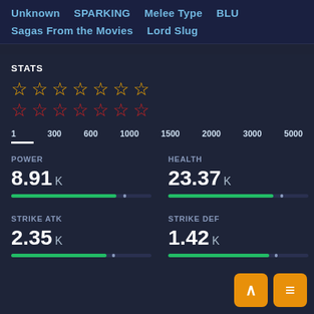Unknown   SPARKING   Melee Type   BLU
Sagas From the Movies   Lord Slug
STATS
[Figure (other): Two rows of 7 star icons each: top row gold/yellow outlined stars, bottom row red outlined stars representing character rarity/level ratings]
Level selector: 1  300  600  1000  1500  2000  3000  5000
POWER: 8.91 K
HEALTH: 23.37 K
STRIKE ATK: 2.35 K
STRIKE DEF: 1.42 K